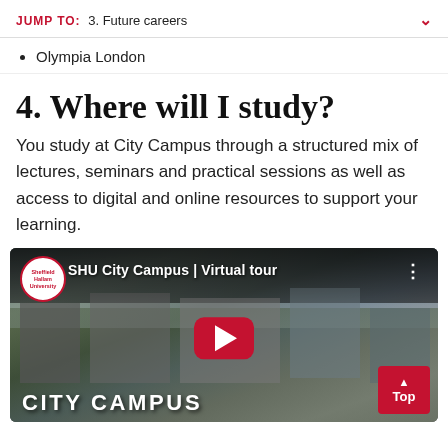JUMP TO: 3. Future careers
Olympia London
4. Where will I study?
You study at City Campus through a structured mix of lectures, seminars and practical sessions as well as access to digital and online resources to support your learning.
[Figure (screenshot): YouTube video thumbnail for SHU City Campus Virtual tour, showing an aerial view of Sheffield Hallam University City Campus with a YouTube play button overlay and 'CITY CAMPUS' text at the bottom. A 'Top' button appears in the bottom right corner.]